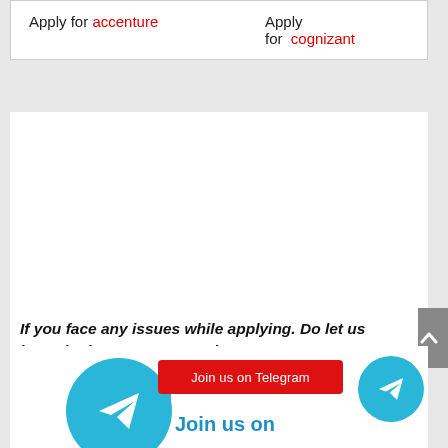| Apply for accenture | Apply for cognizant |
If you face any issues while applying. Do let us know in the comment section.
[Figure (infographic): Join us on Telegram banner with teal circles containing paper plane icons, a red pill-shaped button reading 'Join us on Telegram', and blue text 'Join us on']